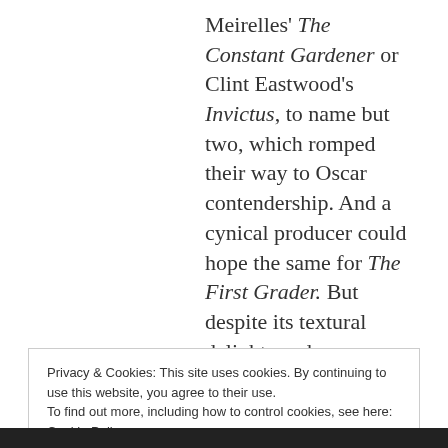Meirelles' The Constant Gardener or Clint Eastwood's Invictus, to name but two, which romped their way to Oscar contendership. And a cynical producer could hope the same for The First Grader. But despite its textural delights and exceptional performances, it can't help but stumble over its shoddy Hollywood script. There are elements of great authenticity, like the real Mau Mau resistance songs gathered via a crewmember's grandma or the plain-acting kids who are so
Privacy & Cookies: This site uses cookies. By continuing to use this website, you agree to their use.
To find out more, including how to control cookies, see here: Cookie Policy
Close and accept